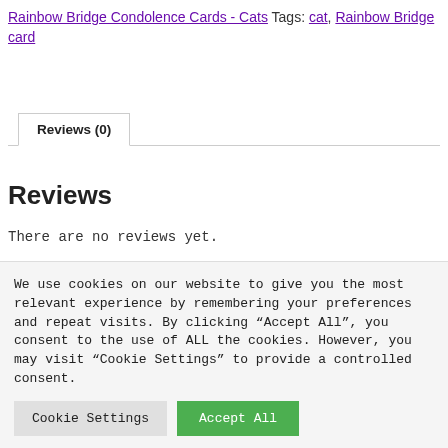Rainbow Bridge Condolence Cards - Cats Tags: cat, Rainbow Bridge card
Reviews (0)
Reviews
There are no reviews yet.
Be the first to review “ Rainbow Bridge Condolence Card – Ginger &
We use cookies on our website to give you the most relevant experience by remembering your preferences and repeat visits. By clicking “Accept All”, you consent to the use of ALL the cookies. However, you may visit “Cookie Settings” to provide a controlled consent.
Cookie Settings
Accept All